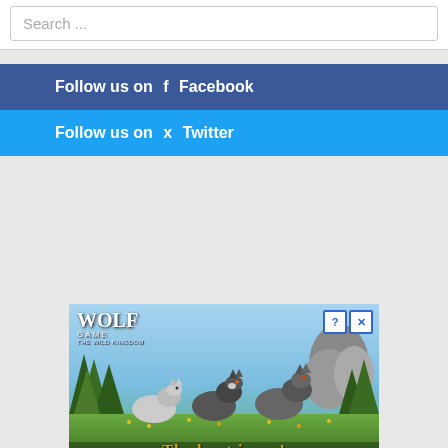Search ...
Follow us on  Facebook
Follow us on  Twitter
[Figure (screenshot): Wolf Game: The Wild Kingdom advertisement banner showing wolves in a forest meadow with text 'THE HUNT IS ON!']